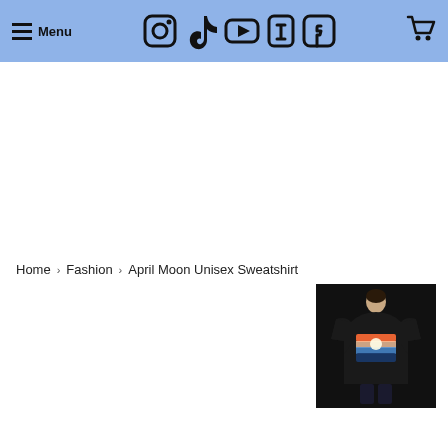Menu | Social icons (Instagram, TikTok, YouTube, Tumblr, Facebook) | Cart
Home › Fashion › April Moon Unisex Sweatshirt
[Figure (photo): Product photo of April Moon Unisex Sweatshirt - black sweatshirt with colorful graphic print, worn by a person]